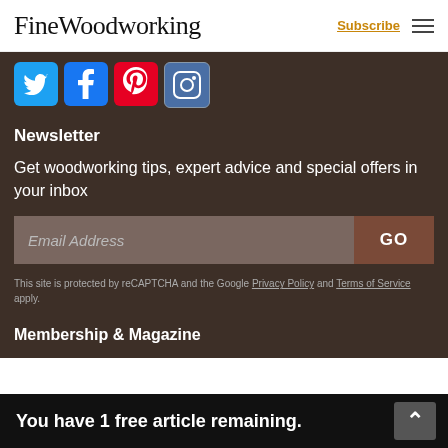FineWoodworking  Subscribe
[Figure (screenshot): Social media icons row: Twitter (blue bird), Facebook (blue f), Pinterest (red P), Instagram (camera outline on blue-gray)]
Newsletter
Get woodworking tips, expert advice and special offers in your inbox
Email Address  GO
This site is protected by reCAPTCHA and the Google Privacy Policy and Terms of Service apply.
Membership & Magazine
You have 1 free article remaining.